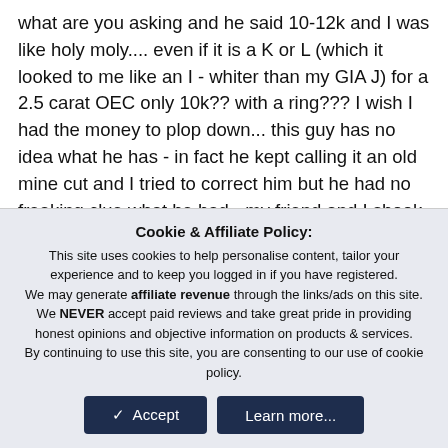what are you asking and he said 10-12k and I was like holy moly.... even if it is a K or L (which it looked to me like an I - whiter than my GIA J) for a 2.5 carat OEC only 10k?? with a ring??? I wish I had the money to plop down... this guy has no idea what he has - in fact he kept calling it an old mine cut and I tried to correct him but he had no freaking clue what he had - my friend and I shook our heads all the way home thinking this guy is supposed to be clued in on estate pieces and yet here I am little nobody off the street and know more about the diff between an OEC and and OMC than he does!! God I hope
Cookie & Affiliate Policy:
This site uses cookies to help personalise content, tailor your experience and to keep you logged in if you have registered.
We may generate affiliate revenue through the links/ads on this site.
We NEVER accept paid reviews and take great pride in providing honest opinions and objective information on products & services.
By continuing to use this site, you are consenting to our use of cookie policy.